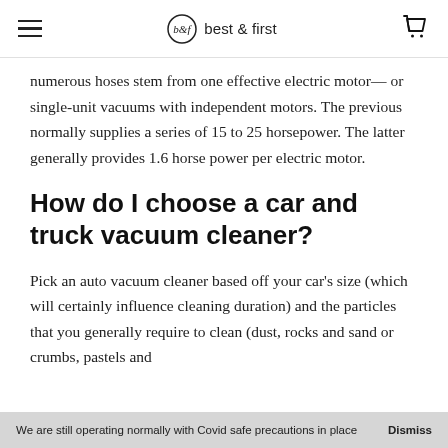best & first
numerous hoses stem from one effective electric motor— or single-unit vacuums with independent motors. The previous normally supplies a series of 15 to 25 horsepower. The latter generally provides 1.6 horse power per electric motor.
How do I choose a car and truck vacuum cleaner?
Pick an auto vacuum cleaner based off your car's size (which will certainly influence cleaning duration) and the particles that you generally require to clean (dust, rocks and sand or crumbs, pastels and
We are still operating normally with Covid safe precautions in place   Dismiss